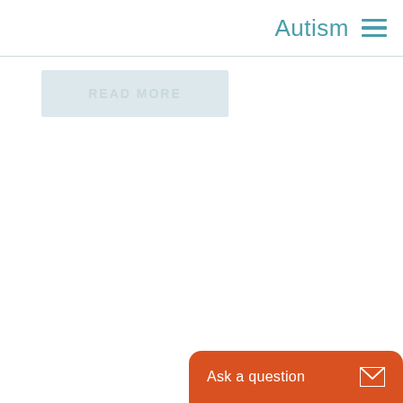Autism
[Figure (screenshot): READ MORE button with light blue/grey background]
[Figure (screenshot): Orange Ask a question button with envelope icon at bottom of page]